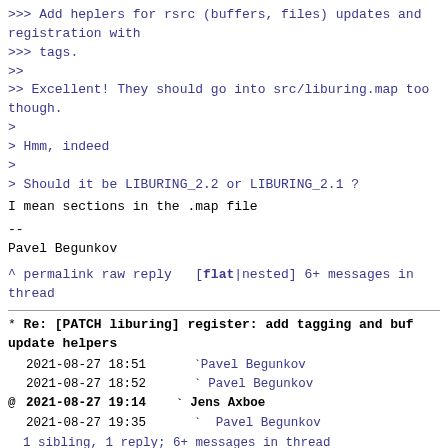>>> Add heplers for rsrc (buffers, files) updates and registration with
>>> tags.
>>
>> Excellent! They should go into src/liburing.map too though.
>
> Hmm, indeed
>
> Should it be LIBURING_2.2 or LIBURING_2.1 ?

I mean sections in the .map file

--
Pavel Begunkov
^ permalink raw reply   [flat|nested] 6+ messages in thread
* Re: [PATCH liburing] register: add tagging and buf update helpers
  2021-08-27 18:51   ` Pavel Begunkov
  2021-08-27 18:52     ` Pavel Begunkov
@ 2021-08-27 19:14     ` Jens Axboe
  2021-08-27 19:35       ` Pavel Begunkov
  1 sibling, 1 reply; 6+ messages in thread
From: Jens Axboe @ 2021-08-27 19:14 UTC (permalink / raw)
  To: Pavel Begunkov, io-uring